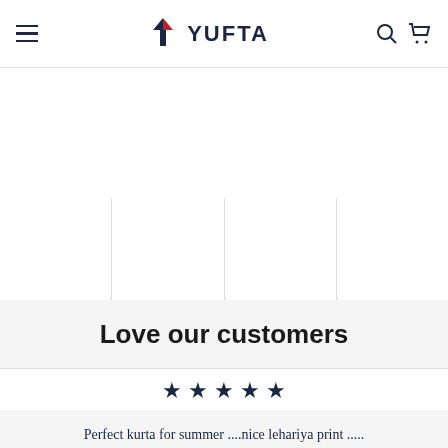YUFTA — Navigation header with hamburger menu, logo, search and cart icons
[Figure (photo): White/blank product image area in the top strip]
[Figure (photo): Four product image cells arranged in a horizontal row, separated by vertical dividers, showing clothing items on white background]
Love our customers
[Figure (infographic): Five filled star rating icons in dark navy blue]
Perfect kurta for summer ....nice lehariya print ..... fabric is also good.... looks lovely